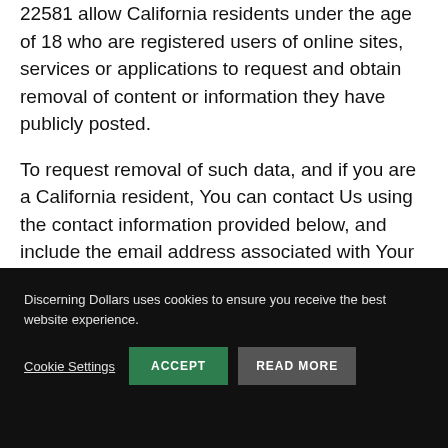22581 allow California residents under the age of 18 who are registered users of online sites, services or applications to request and obtain removal of content or information they have publicly posted.
To request removal of such data, and if you are a California resident, You can contact Us using the contact information provided below, and include the email address associated with Your account.
Discerning Dollars uses cookies to ensure you receive the best website experience.
Cookie Settings  ACCEPT  READ MORE